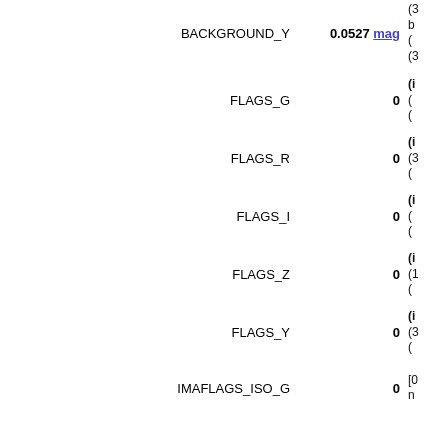| Parameter | Value | Description |
| --- | --- | --- |
| BACKGROUND_Y | 0.0527 mag | [-... b... (... (3... |
| FLAGS_G | 0 | (i... (... (... |
| FLAGS_R | 0 | (i... (3... (... |
| FLAGS_I | 0 | (i... (... (... |
| FLAGS_Z | 0 | (i... (1... (... |
| FLAGS_Y | 0 | (i... (3... (... |
| IMAFLAGS_ISO_G | 0 | [0... n... |